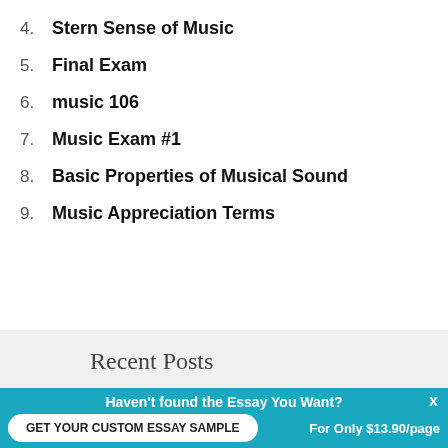4. Stern Sense of Music
5. Final Exam
6. music 106
7. Music Exam #1
8. Basic Properties of Musical Sound
9. Music Appreciation Terms
Recent Posts
Haven't found the Essay You Want?
GET YOUR CUSTOM ESSAY SAMPLE
For Only $13.90/page